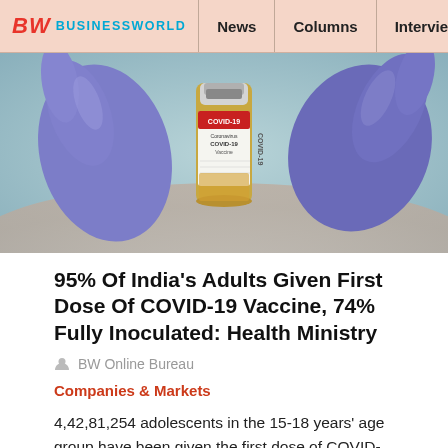BW BUSINESSWORLD | News | Columns | Interviews | BW
[Figure (photo): Close-up photo of gloved hands holding a COVID-19 vaccine vial with a red label, purple latex gloves visible]
95% Of India's Adults Given First Dose Of COVID-19 Vaccine, 74% Fully Inoculated: Health Ministry
BW Online Bureau
Companies & Markets
4,42,81,254 adolescents in the 15-18 years' age group have been given the first dose of COVID-19 vaccine.
READ MORE